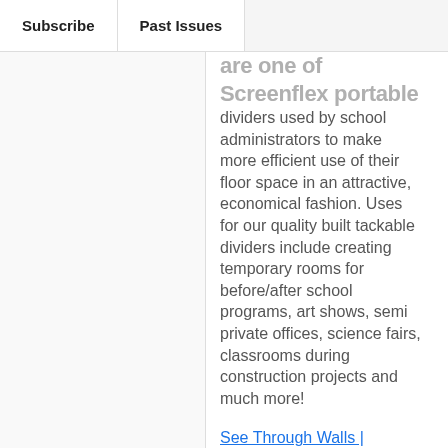Subscribe | Past Issues
are one of Screenflex portable dividers used by school administrators to make more efficient use of their floor space in an attractive, economical fashion. Uses for our quality built tackable dividers include creating temporary rooms for before/after school programs, art shows, semi private offices, science fairs, classrooms during construction projects and much more!
See Through Walls | Translucent Wall Panels | Screenflex (dealersf.com)